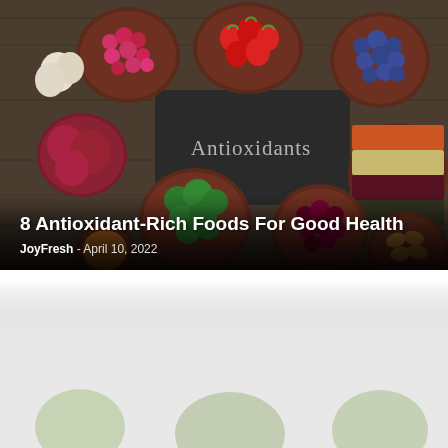[Figure (photo): Hero image showing various bowls of antioxidant-rich foods including raspberries, strawberries, blueberries, beets, garlic, broccoli, spices, seeds, lentils, and nuts arranged around a chalkboard sign reading 'Antioxidants' on a wooden surface.]
8 Antioxidant-Rich Foods For Good Health
JoyFresh - April 10, 2022
[Figure (photo): Second food photograph, partially visible, showing similar antioxidant-rich foods.]